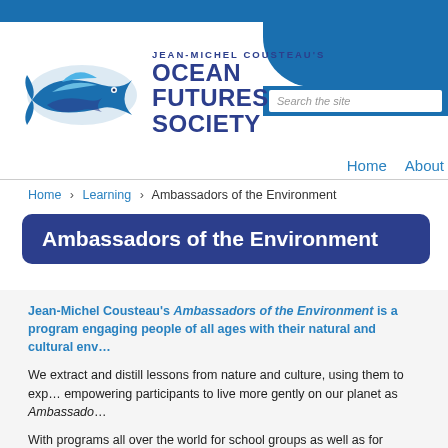[Figure (logo): Jean-Michel Cousteau's Ocean Futures Society logo with stylized fish and text]
Search the site | Home | About
Home › Learning › Ambassadors of the Environment
Ambassadors of the Environment
Jean-Michel Cousteau's Ambassadors of the Environment is a program engaging people of all ages with their natural and cultural environment.
We extract and distill lessons from nature and culture, using them to expand minds and empower participants to live more gently on our planet as Ambassadors of the Environment.
With programs all over the world for school groups as well as for vacation